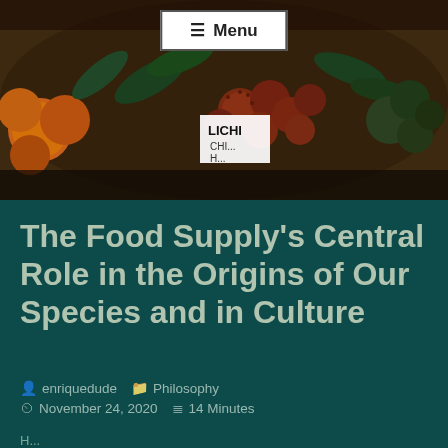[Figure (photo): Photograph of various tropical fruits at a market, including lychee and other produce with a 'LICHI' price sign visible. A menu button overlay appears at the top center.]
The Food Supply's Central Role in the Origins of Our Species and in Culture
enriquedude   Philosophy   November 24, 2020   14 Minutes
H...